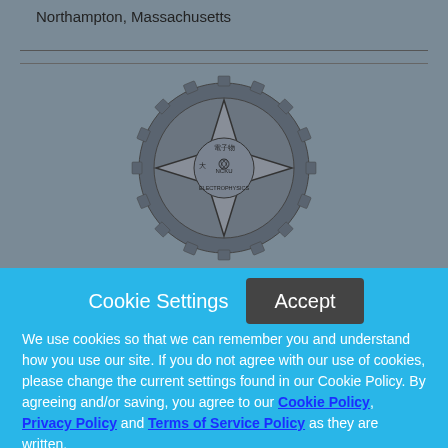Northampton, Massachusetts
[Figure (logo): NCKU Electrophysics gear/star logo with Chinese characters and text 'ELECTROPHYSICS']
Cookie Settings
Accept
We use cookies so that we can remember you and understand how you use our site. If you do not agree with our use of cookies, please change the current settings found in our Cookie Policy. By agreeing and/or saving, you agree to our Cookie Policy, Privacy Policy and Terms of Service Policy as they are written.